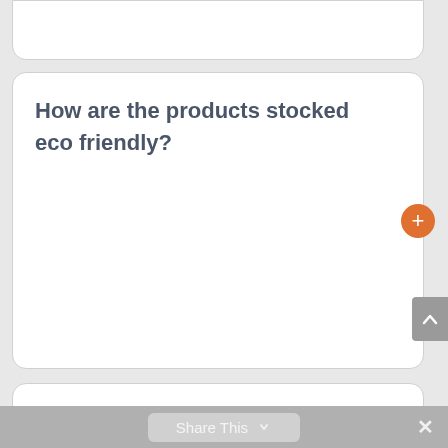How are the products stocked eco friendly?
What is considered an ‘eligible container’ to leave out for collection?
Share This